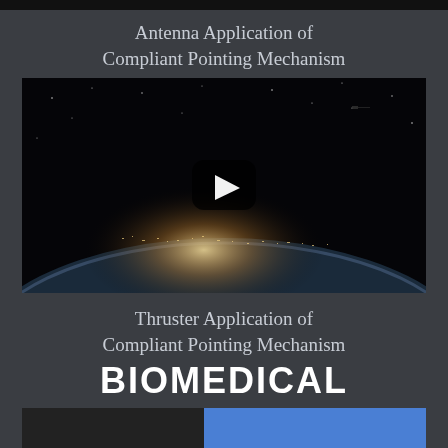Antenna Application of Compliant Pointing Mechanism
[Figure (screenshot): Video thumbnail showing Earth from space at night with city lights visible on the curved horizon, with a YouTube-style play button overlay in the center.]
Thruster Application of Compliant Pointing Mechanism
BIOMEDICAL
[Figure (photo): Bottom partial image strip showing a dark left portion and a blue right portion, appearing to be the top of the next section's image.]